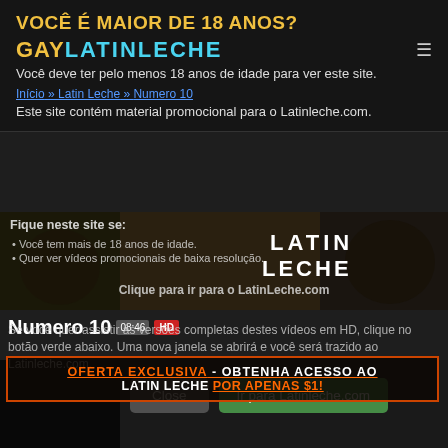VOCÊ É MAIOR DE 18 ANOS?
[Figure (logo): GAY LATINLECHE logo with yellow GAY and cyan LATINLECHE text]
Você deve ter pelo menos 18 anos de idade para ver este site.
Início » Latin Leche » Numero 10
Este site contém material promocional para o Latinleche.com.
[Figure (photo): Latin Leche promotional banner with people and LATIN LECHE text]
Fique neste site se:
Você tem mais de 18 anos de idade.
Quer ver vídeos promocionais de baixa resolução.
Clique para ir para o LatinLeche.com
Numero 10  08:46  HD
Se você quer assistir as versões completas destes vídeos em HD, clique no botão verde abaixo. Uma nova janela se abrirá e você será trazido ao Latinleche.com.
OFERTA EXCLUSIVA - OBTENHA ACESSO AO LATIN LECHE POR APENAS $1!
[Figure (photo): Video thumbnail of person with tattoos, with Close and Ir para Latinleche.com buttons overlaid]